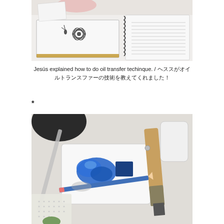[Figure (photo): Photo of an open sketchbook/notebook on a white surface with a hand-drawn flower or dragonfly sketch visible; a spiral-bound notebook with ruled pages is also visible to the right.]
Jesús explained how to do oil transfer techinque. / ヘススがオイルトランスファーの技術を教えてくれました！
*
[Figure (photo): Photo of art supplies on a white textured surface: a white palette or board with blue paint smeared on it, a wooden-handled brush, a blue pencil, and other tools visible in the background.]